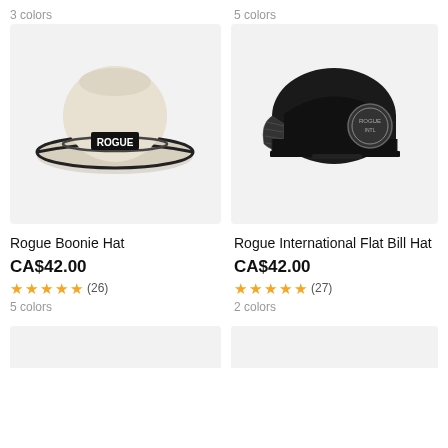3 colors
5 colors
[Figure (photo): Rogue Boonie Hat - a wide-brim sun hat in beige/cream color with a black ROGUE label patch on the front and a black cord trim around the brim, shown on a light gray background.]
[Figure (photo): Rogue International Flat Bill Hat - a black flat-brim trucker cap with mesh back panels and a circular embroidered patch on the side, shown on a light gray background.]
Rogue Boonie Hat
Rogue International Flat Bill Hat
CA$42.00
CA$42.00
★★★★★ (26)
★★★★★ (27)
5 colors
2 colors